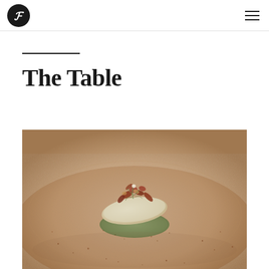TF logo and hamburger menu
The Table
[Figure (photo): Close-up food photography of a delicate fish or seafood dish topped with dried flowers, herbs, and garnishes, plated on a round ceramic dish with green sauce and cocoa/spice dusting on a beige/terracotta plate]